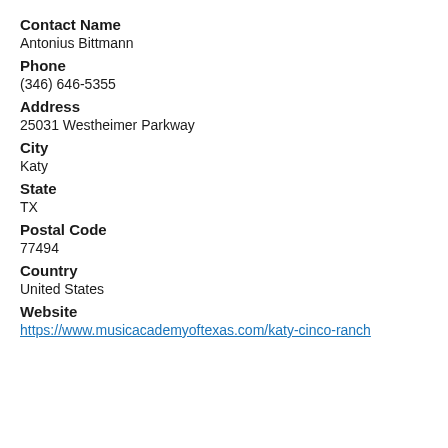Contact Name
Antonius Bittmann
Phone
(346) 646-5355
Address
25031 Westheimer Parkway
City
Katy
State
TX
Postal Code
77494
Country
United States
Website
https://www.musicacademyoftexas.com/katy-cinco-ranch